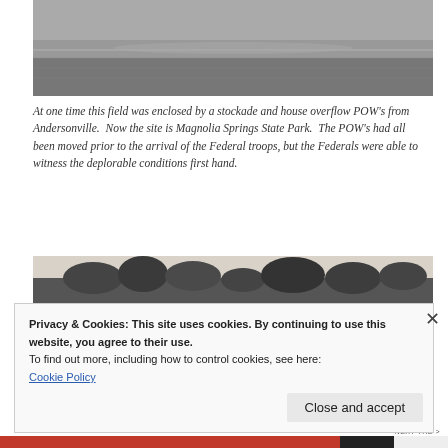[Figure (photo): Black and white photograph of an open grassy field, horizon visible]
At one time this field was enclosed by a stockade and house overflow POW’s from Andersonville.  Now the site is Magnolia Springs State Park.  The POW’s had all been moved prior to the arrival of the Federal troops, but the Federals were able to witness the deplorable conditions first hand.
[Figure (photo): Black and white/sepia photograph of a tree line against a pale sky]
Privacy & Cookies: This site uses cookies. By continuing to use this website, you agree to their use.
To find out more, including how to control cookies, see here:
Cookie Policy
Close and accept